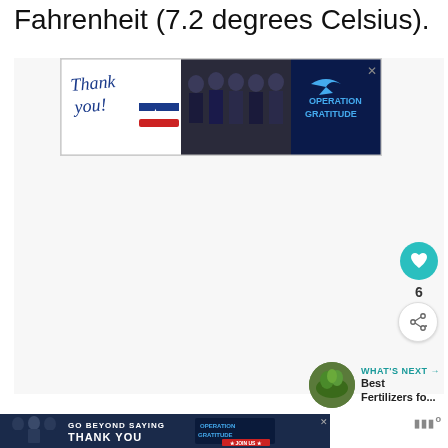Fahrenheit (7.2 degrees Celsius).
[Figure (photo): Operation Gratitude advertisement banner showing firefighters and 'Thank you!' message with American flag design]
[Figure (infographic): Heart/like button (teal circle), like count '6', share button (circle with share icon)]
[Figure (photo): WHAT'S NEXT arrow label with thumbnail of fertilizer/grass and text 'Best Fertilizers fo...']
[Figure (photo): Operation Gratitude bottom advertisement banner 'GO BEYOND SAYING THANK YOU - JOIN US']